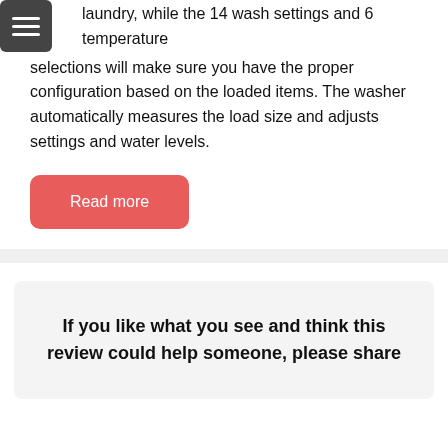laundry, while the 14 wash settings and 6 temperature selections will make sure you have the proper configuration based on the loaded items. The washer automatically measures the load size and adjusts settings and water levels.
Read more
If you like what you see and think this review could help someone, please share